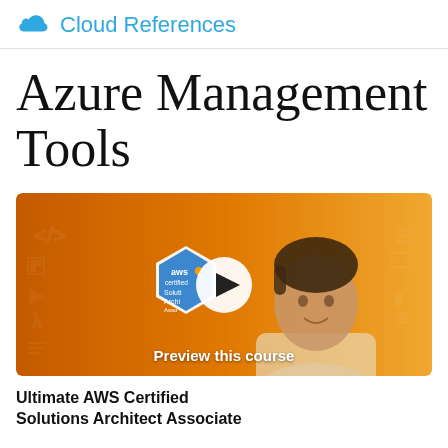Cloud References
Azure Management Tools
[Figure (screenshot): Video thumbnail showing a man in front of an orange AWS-themed background with tech icons, an aws certified Solutions Architect Associate badge, a white circular play button, and text 'Preview this course' at the bottom.]
Ultimate AWS Certified Solutions Architect Associate